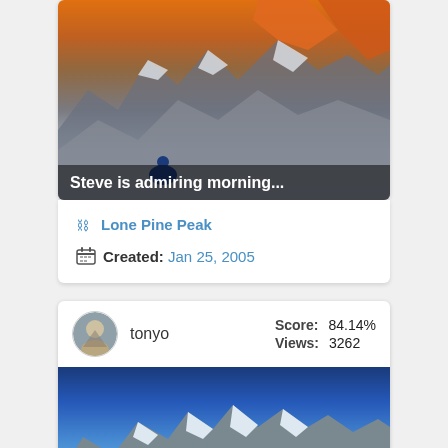[Figure (photo): Mountain landscape at sunrise with orange-lit peaks and snow, person sitting in foreground wearing blue jacket]
Steve is admiring morning...
Lone Pine Peak
Created: Jan 25, 2005
[Figure (photo): User avatar - small circular profile photo]
tonyo
Score: 84.14%  Views: 3262
[Figure (photo): Mountain peaks with blue sky and clouds below, snow-capped rocky mountains]